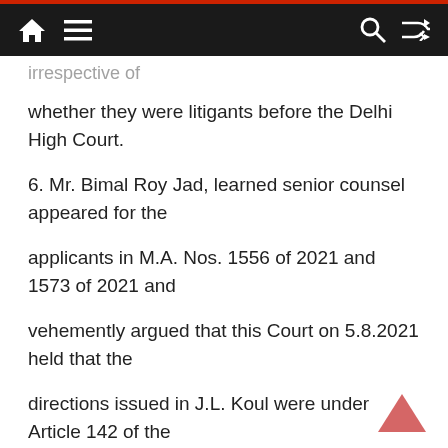[navigation bar with home, menu, search, shuffle icons]
irrespective of
whether they were litigants before the Delhi High Court.
6. Mr. Bimal Roy Jad, learned senior counsel appeared for the
applicants in M.A. Nos. 1556 of 2021 and 1573 of 2021 and
vehemently argued that this Court on 5.8.2021 held that the
directions issued in J.L. Koul were under Article 142 of the
Constitution of India but in fact, the directions were not issued